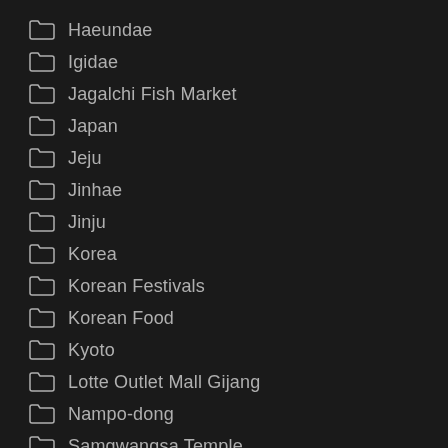Haeundae
Igidae
Jagalchi Fish Market
Japan
Jeju
Jinhae
Jinju
Korea
Korean Festivals
Korean Food
Kyoto
Lotte Outlet Mall Gijang
Nampo-dong
Samgwangsa Temple
Seokbulsa Temple
Seoul